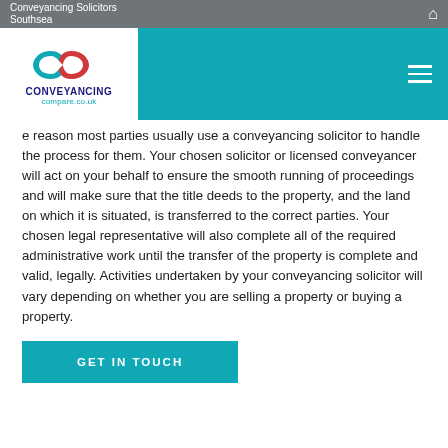Conveyancing Solicitors Southsea
[Figure (logo): Conveyancingcompare.co.uk logo with teal/red infinity-style CC icon]
e reason most parties usually use a conveyancing solicitor to handle the process for them. Your chosen solicitor or licensed conveyancer will act on your behalf to ensure the smooth running of proceedings and will make sure that the title deeds to the property, and the land on which it is situated, is transferred to the correct parties. Your chosen legal representative will also complete all of the required administrative work until the transfer of the property is complete and valid, legally. Activities undertaken by your conveyancing solicitor will vary depending on whether you are selling a property or buying a property.
GET IN TOUCH